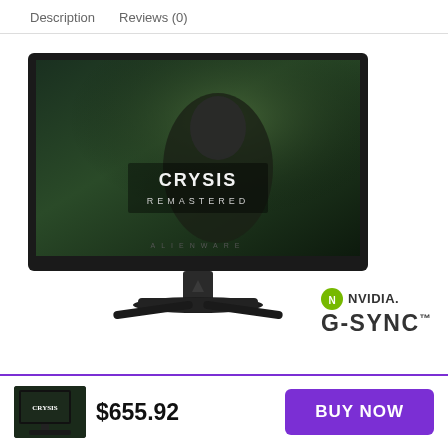Description    Reviews (0)
[Figure (photo): Alienware gaming monitor displaying Crysis Remastered game with NVIDIA G-SYNC logo in bottom right]
[Figure (photo): Small thumbnail of Alienware gaming monitor]
$655.92
BUY NOW